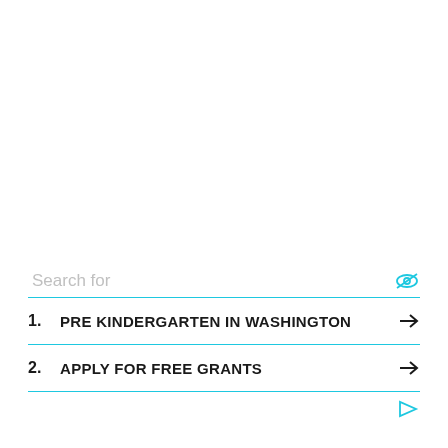Search for
1. PRE KINDERGARTEN IN WASHINGTON
2. APPLY FOR FREE GRANTS